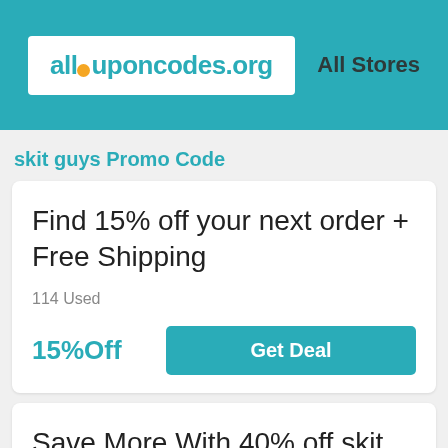allcouponcodes.org — All Stores
skit guys Promo Code
Find 15% off your next order + Free Shipping
114 Used
15%Off
Get Deal
Save More With 40% off skit guys coupon code